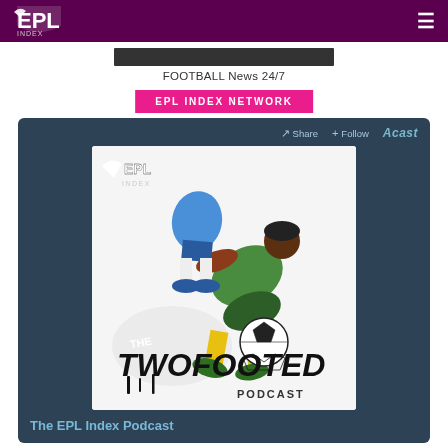EPL Index — navigation bar with logo and hamburger menu
[Figure (illustration): Dark rectangular banner image placeholder above 'FOOTBALL News 24/7' text]
FOOTBALL News 24/7
EPL INDEX NETWORK
[Figure (illustration): The Two Footed Podcast artwork: illustrated soccer players tackling with a football, EPL Index logo in top-left, 'THE TWO FOOTED PODCAST' text overlay]
The EPL Index Podcast